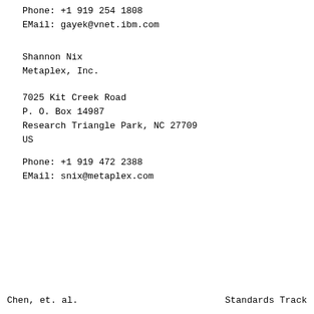Phone: +1 919 254 1808
EMail: gayek@vnet.ibm.com
Shannon Nix
Metaplex, Inc.
7025 Kit Creek Road
P. O. Box 14987
Research Triangle Park, NC 27709
US
Phone: +1 919 472 2388
EMail: snix@metaplex.com
Chen, et. al.                    Standards Track